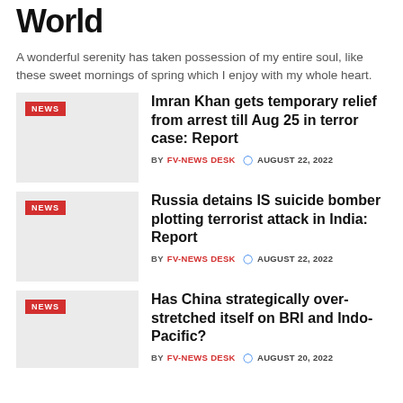World
A wonderful serenity has taken possession of my entire soul, like these sweet mornings of spring which I enjoy with my whole heart.
[Figure (photo): Thumbnail image for news article 1 with NEWS badge]
Imran Khan gets temporary relief from arrest till Aug 25 in terror case: Report
BY FV-NEWS DESK  AUGUST 22, 2022
[Figure (photo): Thumbnail image for news article 2 with NEWS badge]
Russia detains IS suicide bomber plotting terrorist attack in India: Report
BY FV-NEWS DESK  AUGUST 22, 2022
[Figure (photo): Thumbnail image for news article 3 with NEWS badge]
Has China strategically over-stretched itself on BRI and Indo-Pacific?
BY FV-NEWS DESK  AUGUST 20, 2022